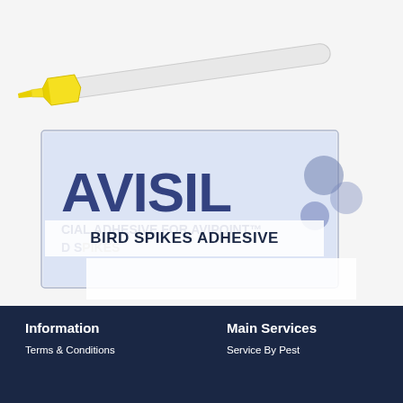[Figure (photo): Product photo showing a sealant/adhesive tube with a yellow nozzle tip at top, and below it a product box labeled 'AVISIL - SPECIAL ADHESIVE FOR AVIPOINT BIRD SPIKES' with text overlay reading 'BIRD SPIKES ADHESIVE']
BIRD SPIKES ADHESIVE
Information | Terms & Conditions | Main Services | Service By Pest